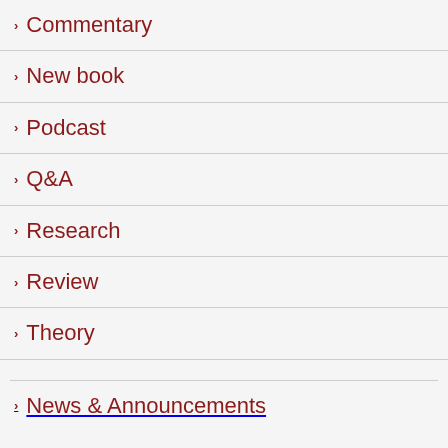Commentary
New book
Podcast
Q&A
Research
Review
Theory
News & Announcements